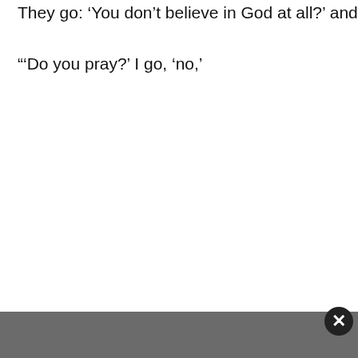They go: 'You don't believe in God at all?' and I go, 'no,'
'Do you pray?' I go, 'no,'